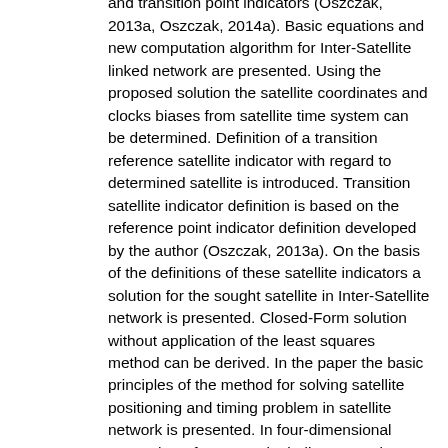network solution is given using the reference and transition point indicators (Oszczak, 2013a, Oszczak, 2014a). Basic equations and new computation algorithm for Inter-Satellite linked network are presented. Using the proposed solution the satellite coordinates and clocks biases from satellite time system can be determined. Definition of a transition reference satellite indicator with regard to determined satellite is introduced. Transition satellite indicator definition is based on the reference point indicator definition developed by the author (Oszczak, 2013a). On the basis of the definitions of these satellite indicators a solution for the sought satellite in Inter-Satellite network is presented. Closed-Form solution without application of the least squares method can be derived. In the paper the basic principles of the method for solving satellite positioning and timing problem in satellite network is presented. In four-dimensional space the reference point indicator can be defined as sum of squared reference satellite coordinates reduced by the squared distance from the reference satellite to the determined satellite. Reference point indicator